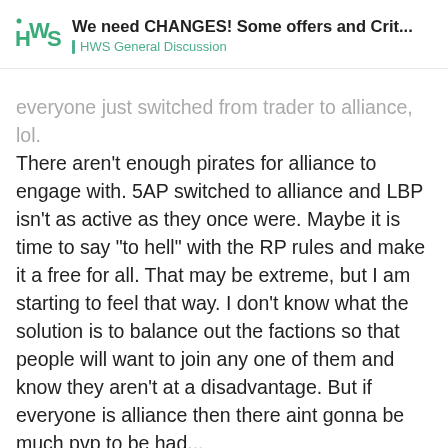We need CHANGES! Some offers and Crit... | HWS General Discussion
everyone just switched from trader to alliance, lol. There aren't enough pirates for alliance to engage with. 5AP switched to alliance and LBP isn't as active as they once were. Maybe it is time to say "to hell" with the RP rules and make it a free for all. That may be extreme, but I am starting to feel that way. I don't know what the solution is to balance out the factions so that people will want to join any one of them and know they aren't at a disadvantage. But if everyone is alliance then there aint gonna be much pvp to be had...
TRTH_Conviction | 10 / 101